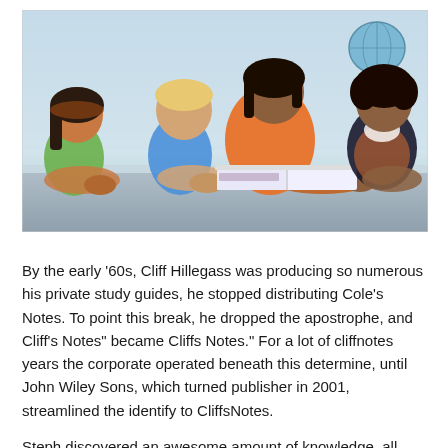[Figure (photo): A teacher in an orange shirt reads a book with three children lying on a table in a classroom setting. A globe is visible in the background.]
By the early '60s, Cliff Hillegass was producing so numerous his private study guides, he stopped distributing Cole's Notes. To point this break, he dropped the apostrophe, and Cliff's Notes" became Cliffs Notes." For a lot of cliffnotes years the corporate operated beneath this determine, until John Wiley Sons, which turned publisher in 2001, streamlined the identify to CliffsNotes.
Steph discovered an awesome amount of knowledge, all with a slant